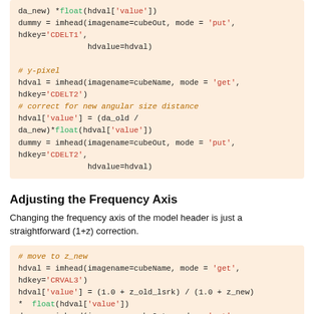[Figure (screenshot): Code block showing Python/CASA imhead calls for y-pixel correction with CDELT1 and CDELT2 header keywords]
Adjusting the Frequency Axis
Changing the frequency axis of the model header is just a straightforward (1+z) correction.
[Figure (screenshot): Code block showing Python/CASA imhead calls for frequency axis adjustment using CRVAL3 and z_new z_old_lsrk correction]